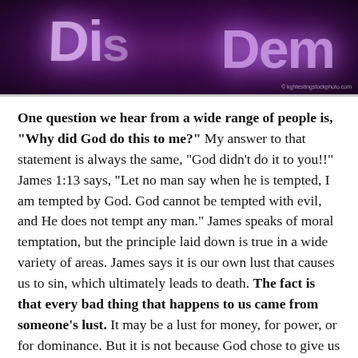[Figure (photo): Dark purple/violet dramatic background with large stylized text partially visible reading 'Di...' on the left and 'Dem' on the right, with light rays emanating from center. Watermark reads '© kgtestingstockphoto.com']
One question we hear from a wide range of people is, “Why did God do this to me?” My answer to that statement is always the same, “God didn’t do it to you!!” James 1:13 says, “Let no man say when he is tempted, I am tempted by God. God cannot be tempted with evil, and He does not tempt any man.” James speaks of moral temptation, but the principle laid down is true in a wide variety of areas. James says it is our own lust that causes us to sin, which ultimately leads to death. The fact is that every bad thing that happens to us came from someone’s lust. It may be a lust for money, for power, or for dominance. But it is not because God chose to give us something bad. God is not the enemy.
One of the most frustrating examples is mental